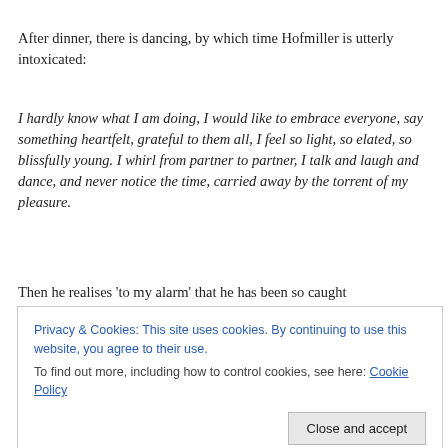After dinner, there is dancing, by which time Hofmiller is utterly intoxicated:
I hardly know what I am doing, I would like to embrace everyone, say something heartfelt, grateful to them all, I feel so light, so elated, so blissfully young. I whirl from partner to partner, I talk and laugh and dance, and never notice the time, carried away by the torrent of my pleasure.
Then he realises 'to my alarm' that he has been so caught
Privacy & Cookies: This site uses cookies. By continuing to use this website, you agree to their use. To find out more, including how to control cookies, see here: Cookie Policy
slightly forward, but now she flinches abruptly back as if